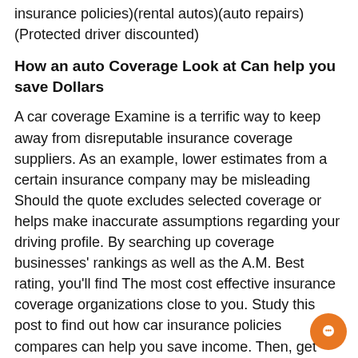insurance policies)(rental autos)(auto repairs)(Protected driver discounted)
How an auto Coverage Look at Can help you save Dollars
A car coverage Examine is a terrific way to keep away from disreputable insurance coverage suppliers. As an example, lower estimates from a certain insurance company may be misleading Should the quote excludes selected coverage or helps make inaccurate assumptions regarding your driving profile. By searching up coverage businesses' rankings as well as the A.M. Best rating, you'll find The most cost effective insurance coverage organizations close to you. Study this post to find out how car insurance policies compares can help you save income. Then, get your rates in the prime firms and see which just one is the best for yourself.(accident free)
Costs are according to credit score-primarily based insurance policies rating